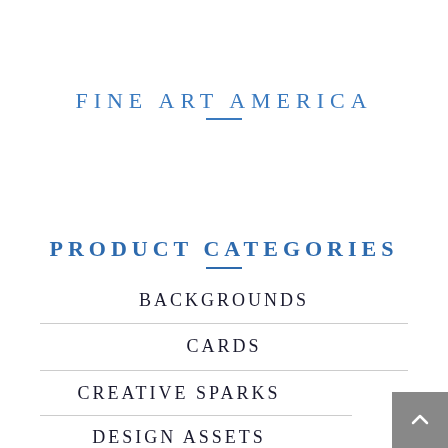FINE ART AMERICA
PRODUCT CATEGORIES
BACKGROUNDS
CARDS
CREATIVE SPARKS
DESIGN ASSETS